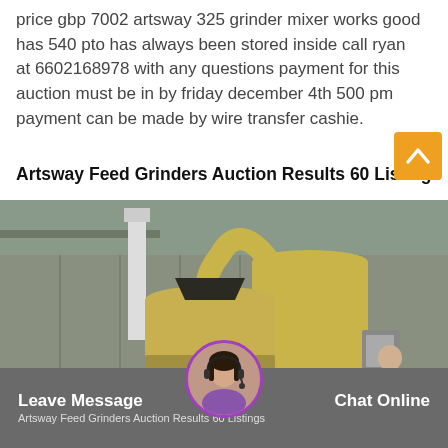price gbp 7002 artsway 325 grinder mixer works good has 540 pto has always been stored inside call ryan at 6602168978 with any questions payment for this auction must be in by friday december 4th 500 pm payment can be made by wire transfer cashie.
Artsway Feed Grinders Auction Results 60 Listings
[Figure (photo): Industrial feed grinder mixer machine (Artsway 325) with yellow dusty cyclone separator tower and blue electric motor, photographed outdoors in a yard with corrugated metal fence background. A person visible to the right.]
Leave Message  Artsway Feed Grinders Auction Results 60 Listings  Chat Online